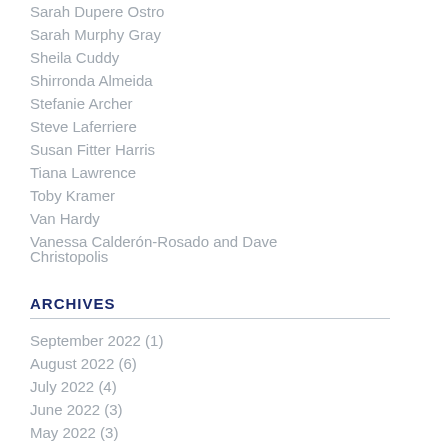Sarah Dupere Ostro
Sarah Murphy Gray
Sheila Cuddy
Shirronda Almeida
Stefanie Archer
Steve Laferriere
Susan Fitter Harris
Tiana Lawrence
Toby Kramer
Van Hardy
Vanessa Calderón-Rosado and Dave Christopolis
ARCHIVES
September 2022 (1)
August 2022 (6)
July 2022 (4)
June 2022 (3)
May 2022 (3)